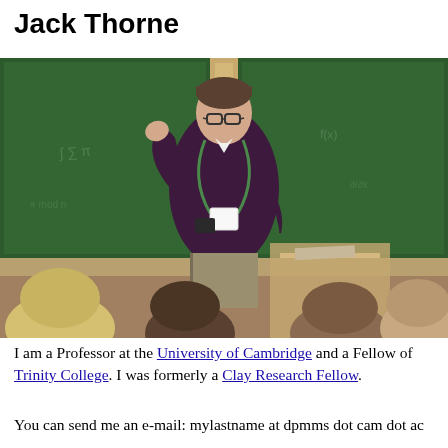Jack Thorne
[Figure (photo): A young man with glasses and short brown hair, wearing a dark purple sweater and a conference lanyard with a name badge, gesturing while speaking in front of a green chalkboard in a classroom. Audience members are visible in the foreground.]
I am a Professor at the University of Cambridge and a Fellow of Trinity College. I was formerly a Clay Research Fellow.
You can send me an e-mail: mylastname at dpmms dot cam dot ac